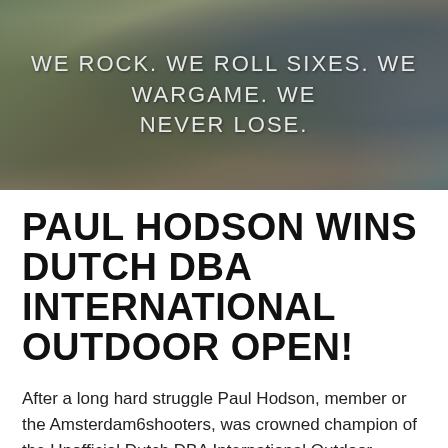[Figure (photo): Hero banner image with outdoor rocky/mossy terrain background, dark and muted tones]
WE ROCK. WE ROLL SIXES. WE WARGAME. WE NEVER LOSE.
PAUL HODSON WINS DUTCH DBA INTERNATIONAL OUTDOOR OPEN!
After a long hard struggle Paul Hodson, member or the Amsterdam6shooters, was crowned champion of the Unofficial Dutch DBA International Outdoor Wargaming Tournament in Amsterdam. He won two Roman armies against three Caledonian commands.